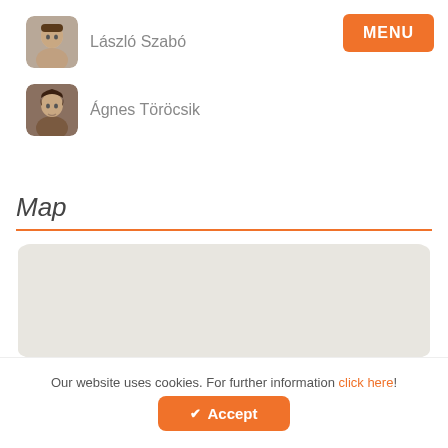[Figure (photo): Avatar photo of László Szabó, a man]
László Szabó
[Figure (photo): Avatar photo of Ágnes Töröcsik, a woman]
Ágnes Töröcsik
MENU
Map
[Figure (map): A blank/empty map area shown as light gray rounded rectangle]
Our website uses cookies. For further information click here!
✔ Accept